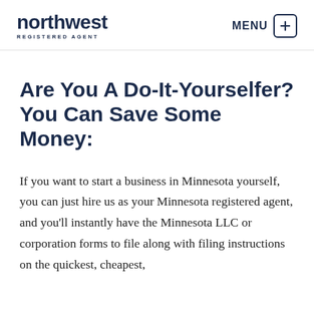northwest REGISTERED AGENT | MENU
Are You A Do-It-Yourselfer? You Can Save Some Money:
If you want to start a business in Minnesota yourself, you can just hire us as your Minnesota registered agent, and you'll instantly have the Minnesota LLC or corporation forms to file along with filing instructions on the quickest, cheapest,